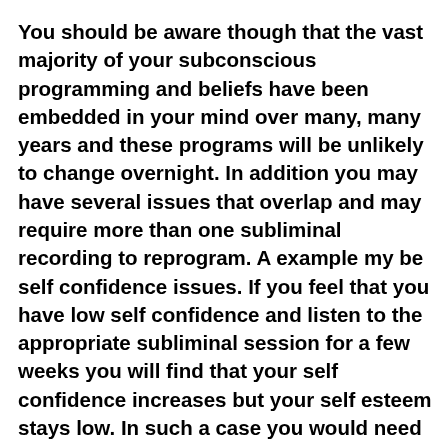You should be aware though that the vast majority of your subconscious programming and beliefs have been embedded in your mind over many, many years and these programs will be unlikely to change overnight. In addition you may have several issues that overlap and may require more than one subliminal recording to reprogram. A example my be self confidence issues. If you feel that you have low self confidence and listen to the appropriate subliminal session for a few weeks you will find that your self confidence increases but your self esteem stays low. In such a case you would need to also ensure the subliminal confidence messages on the recording included self esteem affirmations or you could purchase/make two different subliminal recordings. However, I would advise getting a